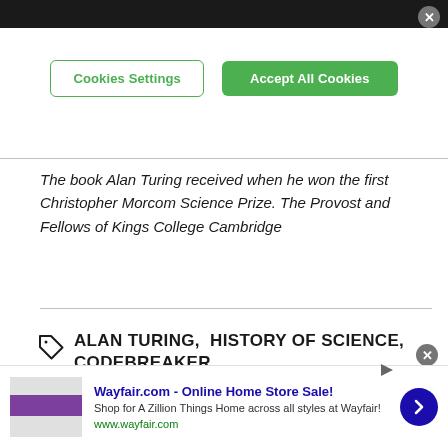[Figure (screenshot): Top black browser bar with close X button]
[Figure (screenshot): Cookie consent buttons: 'Cookies Settings' outlined green button and 'Accept All Cookies' filled green button]
The book Alan Turing received when he won the first Christopher Morcom Science Prize. The Provost and Fellows of Kings College Cambridge
ALAN TURING,  HISTORY OF SCIENCE,  CODEBREAKER
[Figure (screenshot): Wayfair.com advertisement banner at the bottom with thumbnail, text 'Wayfair.com - Online Home Store Sale! Shop for A Zillion Things Home across all styles at Wayfair! www.wayfair.com' and a blue arrow button]